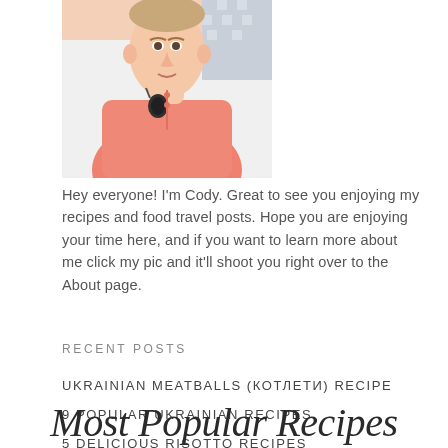[Figure (photo): Photo of a man named Cody wearing a pink polo shirt with sunglasses hanging on his collar, photographed outdoors]
Hey everyone! I'm Cody. Great to see you enjoying my recipes and food travel posts. Hope you are enjoying your time here, and if you want to learn more about me click my pic and it'll shoot you right over to the About page.
RECENT POSTS
UKRAINIAN MEATBALLS (КОТЛЕТИ) RECIPE
9 POPULAR UKRAINIAN RECIPES
5 DELICIOUS RISOTTO RECIPES
Most Popular Recipes